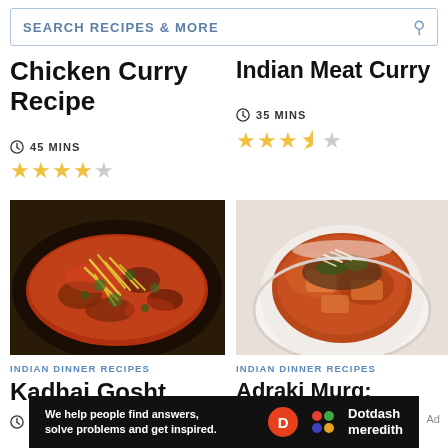SEARCH RECIPES & MORE
Chicken Curry Recipe
45 MINS
Indian Meat Curry
35 MINS
[Figure (photo): Kadhai Gosht - Indian spiced meat dish in a cast iron skillet with julienned ginger and herbs on top]
[Figure (photo): Adraki Murg Ginger Chicken - Indian curry in a white bowl with ground spices and herbs on top]
INDIAN DINNER RECIPES
Kadhai Gosht
3 HRS
INDIAN DINNER RECIPES
Adraki Murg: Ginger Chicken
Ad
We help people find answers, solve problems and get inspired.
Dotdash meredith